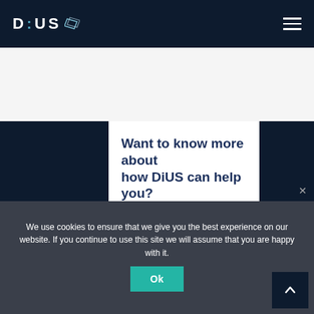DiUS
Want to know more about how DiUS can help you?
Get in touch
We use cookies to ensure that we give you the best experience on our website. If you continue to use this site we will assume that you are happy with it.
Ok